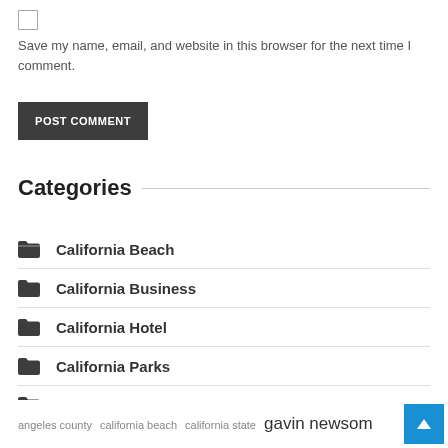Save my name, email, and website in this browser for the next time I comment.
POST COMMENT
Categories
California Beach
California Business
California Hotel
California Parks
California Restaurants
angeles county   california beach   california state   gavin newsom